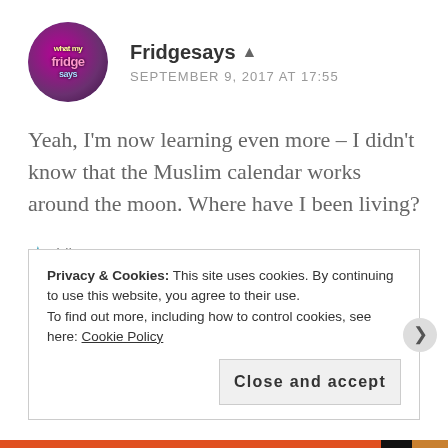Fridgesays
SEPTEMBER 9, 2017 AT 17:55
Yeah, I'm now learning even more – I didn't know that the Muslim calendar works around the moon. Where have I been living?
Like
Reply
Privacy & Cookies: This site uses cookies. By continuing to use this website, you agree to their use.
To find out more, including how to control cookies, see here: Cookie Policy
Close and accept